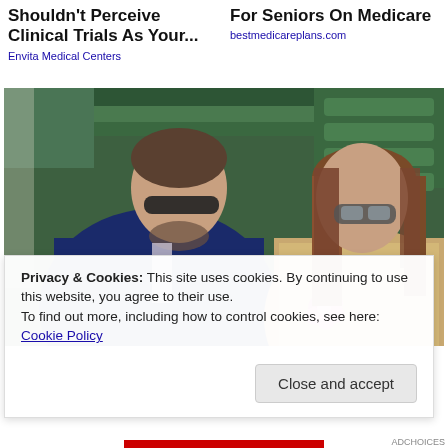Shouldn't Perceive Clinical Trials As Your...
Envita Medical Centers
For Seniors On Medicare
bestmedicareplans.com
[Figure (photo): Two people sitting in stadium seating. A man in a navy blue suit with gray tie and sunglasses sits on the left in profile view. A woman with long brown hair, sunglasses, and a sparkly top with a pink flower sits on the right facing forward. Green bleacher seats are visible in the background.]
Privacy & Cookies: This site uses cookies. By continuing to use this website, you agree to their use.
To find out more, including how to control cookies, see here:
Cookie Policy
Close and accept